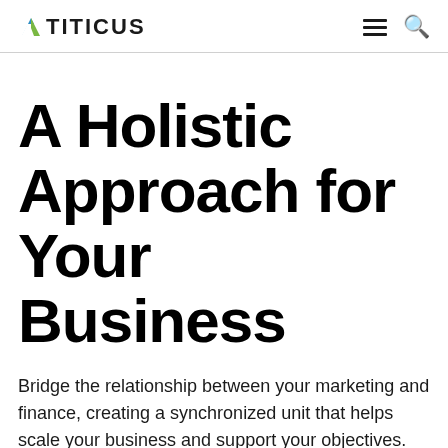TITICUS
A Holistic Approach for Your Business
Bridge the relationship between your marketing and finance, creating a synchronized unit that helps scale your business and support your objectives.